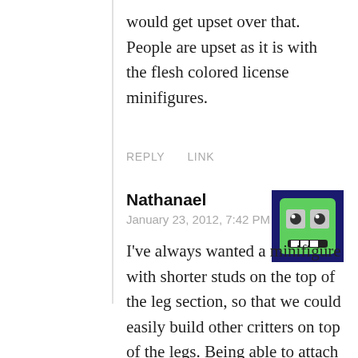would get upset over that. People are upset as it is with the flesh colored license minifigures.
REPLY   LINK
Nathanael
January 23, 2012, 7:42 PM
[Figure (illustration): Avatar icon: green pixel-art face with goggly eyes and a smile on a dark purple/navy background square]
I've always wanted a minifigure with shorter studs on the top of the leg section, so that we could easily build other critters on top of the legs. Being able to attach the arms like the skeleton figures would open up a lot of possibilities (the minifig arms are kind of